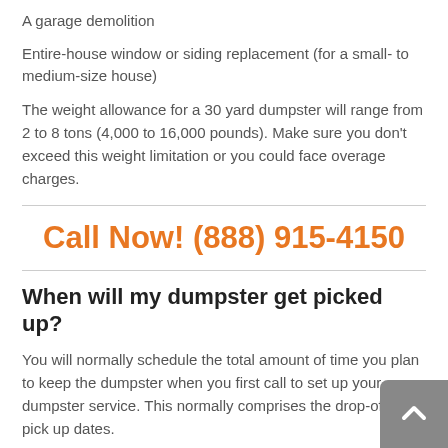A garage demolition
Entire-house window or siding replacement (for a small- to medium-size house)
The weight allowance for a 30 yard dumpster will range from 2 to 8 tons (4,000 to 16,000 pounds). Make sure you don't exceed this weight limitation or you could face overage charges.
Call Now! (888) 915-4150
When will my dumpster get picked up?
You will normally schedule the total amount of time you plan to keep the dumpster when you first call to set up your dumpster service. This normally comprises the drop-off and pick up dates.